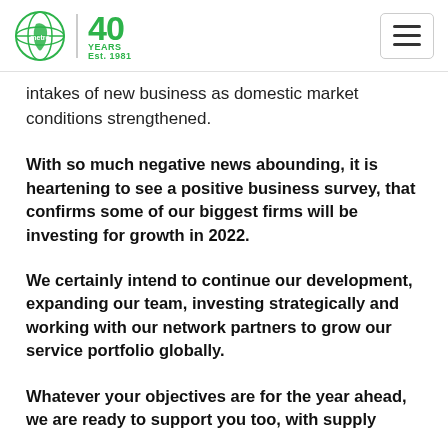metro 40 YEARS Est. 1981
intakes of new business as domestic market conditions strengthened.
With so much negative news abounding, it is heartening to see a positive business survey, that confirms some of our biggest firms will be investing for growth in 2022.
We certainly intend to continue our development, expanding our team, investing strategically and working with our network partners to grow our service portfolio globally.
Whatever your objectives are for the year ahead, we are ready to support you too, with supply